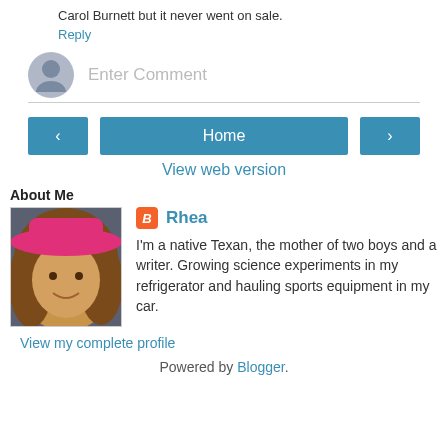Carol Burnett but it never went on sale.
Reply
[Figure (other): Comment input area with gray avatar circle and 'Enter Comment' placeholder text with bottom border]
[Figure (other): Navigation buttons: left arrow button, Home button, right arrow button]
View web version
About Me
[Figure (photo): Photo of a woman wearing a pink hat, smiling, with long brown hair]
Rhea
I'm a native Texan, the mother of two boys and a writer. Growing science experiments in my refrigerator and hauling sports equipment in my car.
View my complete profile
Powered by Blogger.